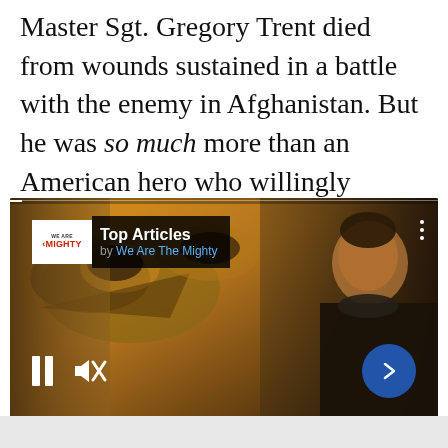Master Sgt. Gregory Trent died from wounds sustained in a battle with the enemy in Afghanistan. But he was so much more than an American hero who willingly sacrificed it all for our country.
[Figure (screenshot): A video player showing Top Articles by We Are The Mighty, featuring a still from what appears to be a Top Gun movie scene with a pilot standing in front of aircraft. Controls show a pause button, mute icon, and a blue arrow button on the right.]